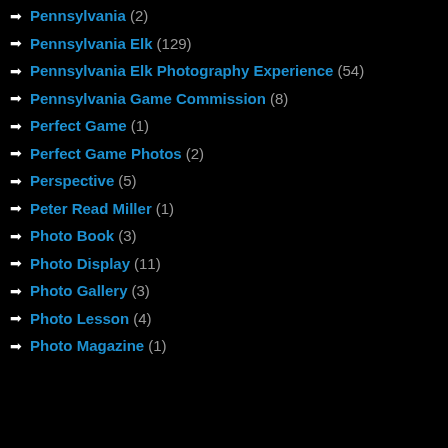Pennsylvania (2)
Pennsylvania Elk (129)
Pennsylvania Elk Photography Experience (54)
Pennsylvania Game Commission (8)
Perfect Game (1)
Perfect Game Photos (2)
Perspective (5)
Peter Read Miller (1)
Photo Book (3)
Photo Display (11)
Photo Gallery (3)
Photo Lesson (4)
Photo Magazine (1)